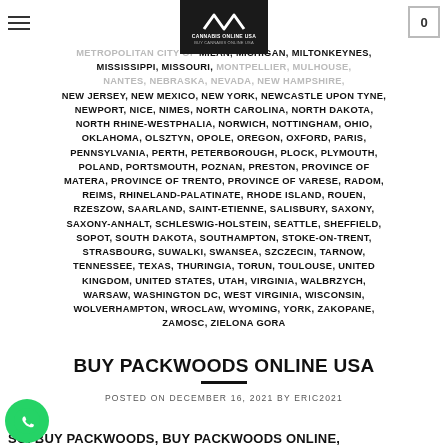METROPOLITAN CITY OF MILAN, MICHIGAN, MILTON KEYNES, MISSISSIPPI, MISSOURI, MONTPELLIER, MULHOUSE, NANTES, NEBRASKA, NEVADA, NEW HAMPSHIRE, NEW JERSEY, NEW MEXICO, NEW YORK, NEWCASTLE UPON TYNE, NEWPORT, NICE, NIMES, NORTH CAROLINA, NORTH DAKOTA, NORTH RHINE-WESTPHALIA, NORWICH, NOTTINGHAM, OHIO, OKLAHOMA, OLSZTYN, OPOLE, OREGON, OXFORD, PARIS, PENNSYLVANIA, PERTH, PETERBOROUGH, PLOCK, PLYMOUTH, POLAND, PORTSMOUTH, POZNAN, PRESTON, PROVINCE OF MATERA, PROVINCE OF TRENTO, PROVINCE OF VARESE, RADOM, REIMS, RHINELAND-PALATINATE, RHODE ISLAND, ROUEN, RZESZOW, SAARLAND, SAINT-ETIENNE, SALISBURY, SAXONY, SAXONY-ANHALT, SCHLESWIG-HOLSTEIN, SEATTLE, SHEFFIELD, SOPOT, SOUTH DAKOTA, SOUTHAMPTON, STOKE-ON-TRENT, STRASBOURG, SUWALKI, SWANSEA, SZCZECIN, TARNOW, TENNESSEE, TEXAS, THURINGIA, TORUN, TOULOUSE, UNITED KINGDOM, UNITED STATES, UTAH, VIRGINIA, WALBRZYCH, WARSAW, WASHINGTON DC, WEST VIRGINIA, WISCONSIN, WOLVERHAMPTON, WROCLAW, WYOMING, YORK, ZAKOPANE, ZAMOSC, ZIELONA GORA
BUY PACKWOODS ONLINE USA
POSTED ON DECEMBER 16, 2021 BY ERIC2021
SO. BUY PACKWOODS, BUY PACKWOODS ONLINE, ORDER PACKWOODS ONLINE, PACKWOODS PRE ROLLED JOINT, PACKWOODS STRAIN.